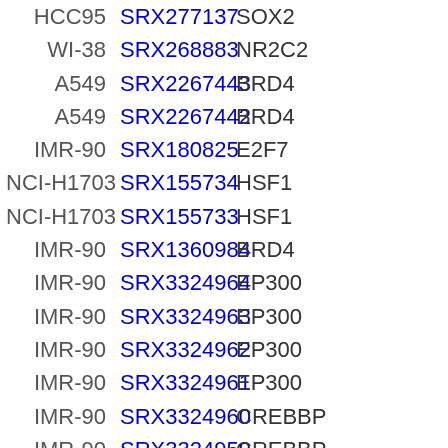| Cell | SRX | Gene |  |
| --- | --- | --- | --- |
| HCC95 | SRX277137 | SOX2 |  |
| WI-38 | SRX268883 | NR2C2 |  |
| A549 | SRX2267443 | BRD4 |  |
| A549 | SRX2267442 | BRD4 |  |
| IMR-90 | SRX180825 | E2F7 |  |
| NCI-H1703 | SRX155734 | HSF1 |  |
| NCI-H1703 | SRX155733 | HSF1 |  |
| IMR-90 | SRX1360984 | BRD4 |  |
| IMR-90 | SRX3324964 | EP300 |  |
| IMR-90 | SRX3324963 | EP300 |  |
| IMR-90 | SRX3324962 | EP300 |  |
| IMR-90 | SRX3324961 | EP300 |  |
| IMR-90 | SRX3324960 | CREBBP |  |
| IMR-90 | SRX3324959 | CREBBP |  |
| IMR-90 | SRX3324958 | CREBBP |  |
| IMR-90 | SRX3324957 | CREBBP |  |